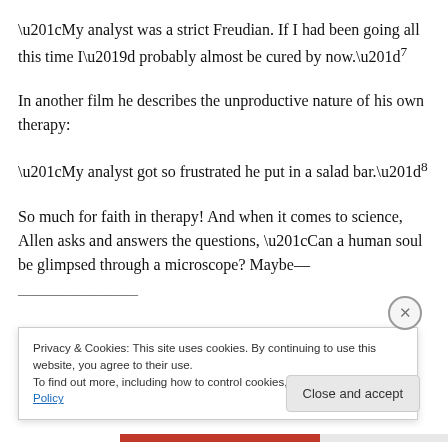“My analyst was a strict Freudian. If I had been going all this time I’d probably almost be cured by now.”7
In another film he describes the unproductive nature of his own therapy:
“My analyst got so frustrated he put in a salad bar.”8
So much for faith in therapy! And when it comes to science, Allen asks and answers the questions, “Can a human soul be glimpsed through a microscope? Maybe—
Privacy & Cookies: This site uses cookies. By continuing to use this website, you agree to their use.
To find out more, including how to control cookies, see here: Cookie Policy
Close and accept